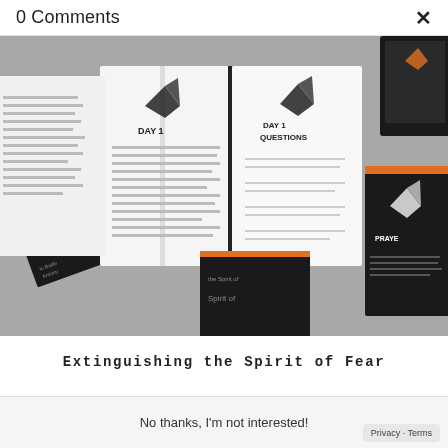0 Comments
[Figure (photo): Multiple copies and interior pages of the book 'Extinguishing the Spirit of Fear' spread out on a gray surface, showing black covers with orange accents and an origami bird graphic, and open interior pages with 'DAY 1' and 'DAY 1 QUESTIONS' headings.]
Extinguishing the Spirit of Fear
No thanks, I'm not interested!